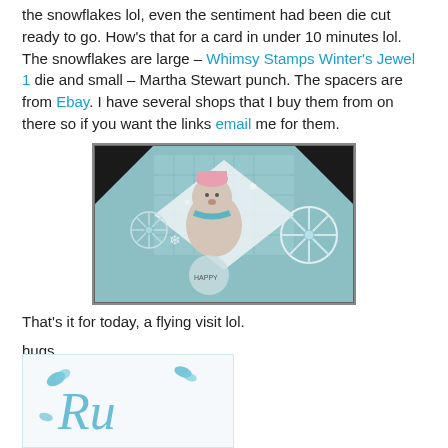The only things that were done especially for this card was the snowflakes lol, even the sentiment had been die cut ready to go.  How's that for a card in under 10 minutes lol.  The snowflakes are large – Whimsy Stamps Winter's Jewel 1 die and small – Martha Stewart punch.  The spacers are from Ebay.  I have several shops that I buy them from on there so if you want the links email me for them.
[Figure (photo): A handmade greeting card featuring a cute bear wearing winter clothing (hat and scarf), surrounded by snowflakes and decorative elements on a teal/blue patterned background, with rhinestone embellishments.]
That's it for today, a flying visit lol.
hugs,
[Figure (illustration): A decorative signature/logo in teal script lettering with butterfly embellishments.]